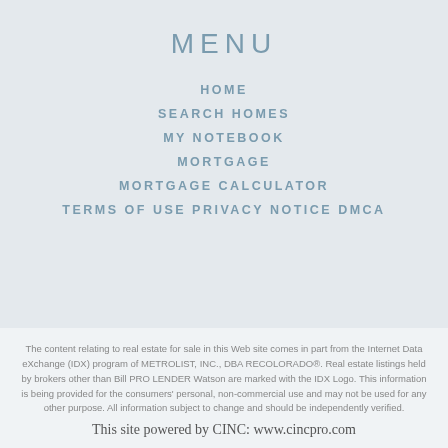MENU
HOME
SEARCH HOMES
MY NOTEBOOK
MORTGAGE
MORTGAGE CALCULATOR
TERMS OF USE PRIVACY NOTICE DMCA
The content relating to real estate for sale in this Web site comes in part from the Internet Data eXchange (IDX) program of METROLIST, INC., DBA RECOLORADO®. Real estate listings held by brokers other than Bill PRO LENDER Watson are marked with the IDX Logo. This information is being provided for the consumers' personal, non-commercial use and may not be used for any other purpose. All information subject to change and should be independently verified.
This site powered by CINC: www.cincpro.com